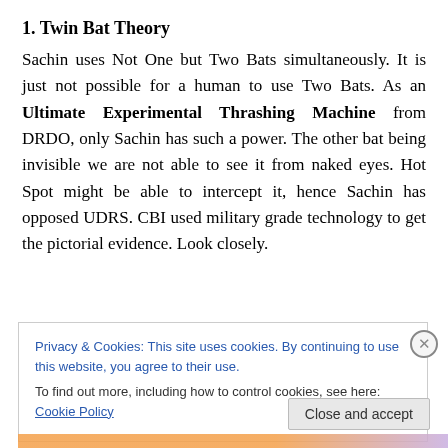1. Twin Bat Theory
Sachin uses Not One but Two Bats simultaneously. It is just not possible for a human to use Two Bats. As an Ultimate Experimental Thrashing Machine from DRDO, only Sachin has such a power. The other bat being invisible we are not able to see it from naked eyes. Hot Spot might be able to intercept it, hence Sachin has opposed UDRS. CBI used military grade technology to get the pictorial evidence. Look closely.
Privacy & Cookies: This site uses cookies. By continuing to use this website, you agree to their use.
To find out more, including how to control cookies, see here: Cookie Policy
Close and accept